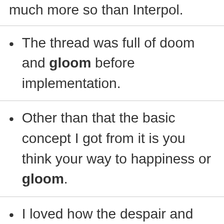much more so than Interpol.
The thread was full of doom and gloom before implementation.
Other than that the basic concept I got from it is you think your way to happiness or gloom.
I loved how the despair and gloom was counteracted with hope and enthusiasm.
The suspense is coupled with the